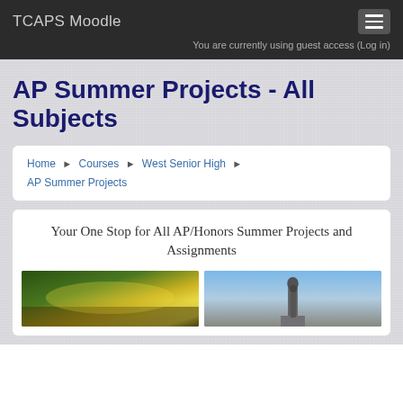TCAPS Moodle
You are currently using guest access (Log in)
AP Summer Projects - All Subjects
Home ▶ Courses ▶ West Senior High ▶ AP Summer Projects
Your One Stop for All AP/Honors Summer Projects and Assignments
[Figure (photo): Two photos side by side: left shows a night scene with yellow-green lights, right shows a monument or statue against a sky background]